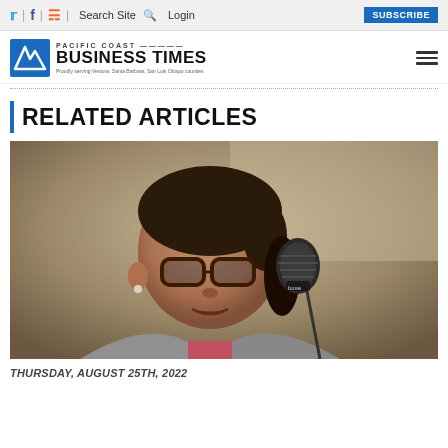Twitter | Facebook | RSS | Search Site | Login | SUBSCRIBE
[Figure (logo): Pacific Coast Business Times logo with blue icon and text]
RELATED ARTICLES
[Figure (photo): A woman wearing glasses and a gray blazer speaking into a microphone at an event]
THURSDAY, AUGUST 25TH, 2022